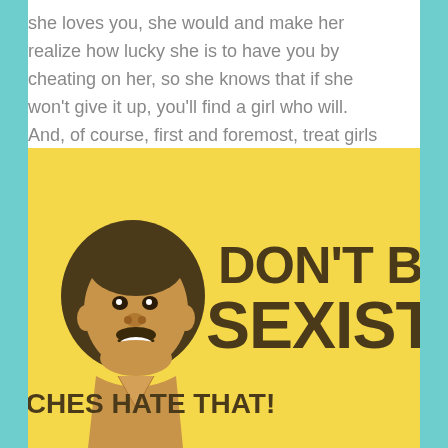she loves you, she would and make her realize how lucky she is to have you by cheating on her, so she knows that if she won't give it up, you'll find a girl who will. And, of course, first and foremost, treat girls with respect.
[Figure (illustration): Yellow background illustration with a cartoon smiling man with an afro on the left, and large bold brown text reading 'DON'T BE SEXIST!' with smaller bold text below reading 'BITCHES HATE THAT!']